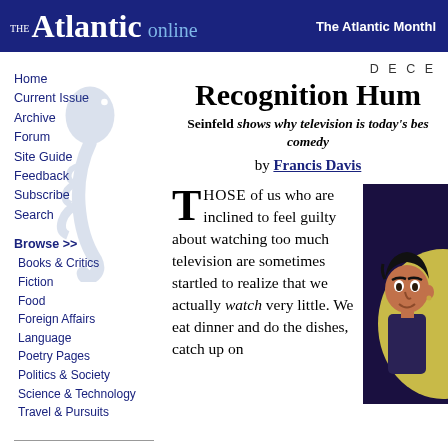THE Atlantic online | The Atlantic Monthly
Home
Current Issue
Archive
Forum
Site Guide
Feedback
Subscribe
Search
Browse >>
Books & Critics
Fiction
Food
Foreign Affairs
Language
Poetry Pages
Politics & Society
Science & Technology
Travel & Pursuits
DECE
Recognition Hum
Seinfeld shows why television is today's best comedy
by Francis Davis
THOSE of us who are inclined to feel guilty about watching too much television are sometimes startled to realize that we actually watch very little. We eat dinner and do the dishes, catch up on
[Figure (illustration): Caricature illustration of Seinfeld characters]